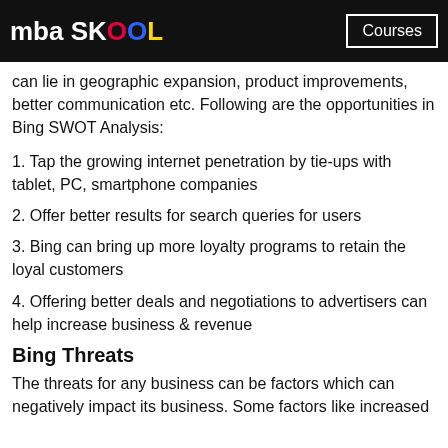mba SKOOL  Courses
can lie in geographic expansion, product improvements, better communication etc. Following are the opportunities in Bing SWOT Analysis:
1. Tap the growing internet penetration by tie-ups with tablet, PC, smartphone companies
2. Offer better results for search queries for users
3. Bing can bring up more loyalty programs to retain the loyal customers
4. Offering better deals and negotiations to advertisers can help increase business & revenue
Bing Threats
The threats for any business can be factors which can negatively impact its business. Some factors like increased